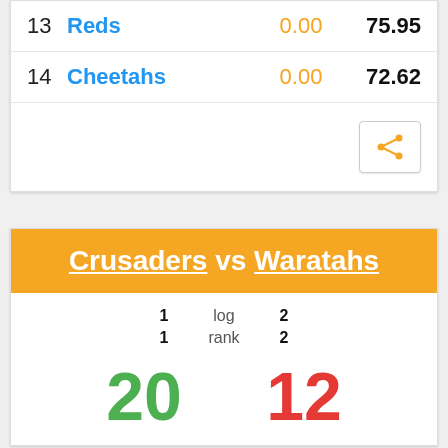| # | Team | Val1 | Val2 |
| --- | --- | --- | --- |
| 13 | Reds | 0.00 | 75.95 |
| 14 | Cheetahs | 0.00 | 72.62 |
Crusaders vs Waratahs
| Home | Stat | Away |
| --- | --- | --- |
| 1 | log | 2 |
| 1 | rank | 2 |
| 20 |  | 12 |